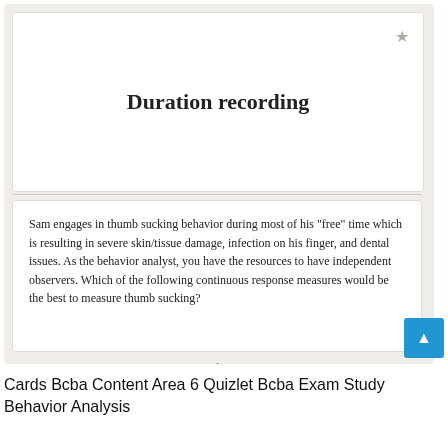[Figure (screenshot): Quizlet flashcard screenshot showing front card with 'Duration recording' and back card with a question about Sam's thumb sucking behavior, with navigation controls showing 1 of 33]
Cards Bcba Content Area 6 Quizlet Bcba Exam Study Behavior Analysis